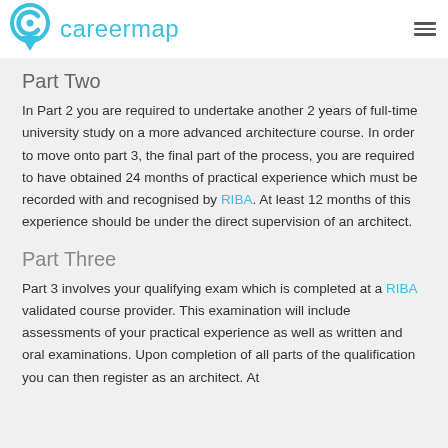careermap
Part Two
In Part 2 you are required to undertake another 2 years of full-time university study on a more advanced architecture course. In order to move onto part 3, the final part of the process, you are required to have obtained 24 months of practical experience which must be recorded with and recognised by RIBA. At least 12 months of this experience should be under the direct supervision of an architect.
Part Three
Part 3 involves your qualifying exam which is completed at a RIBA validated course provider. This examination will include assessments of your practical experience as well as written and oral examinations. Upon completion of all parts of the qualification you can then register as an architect. At